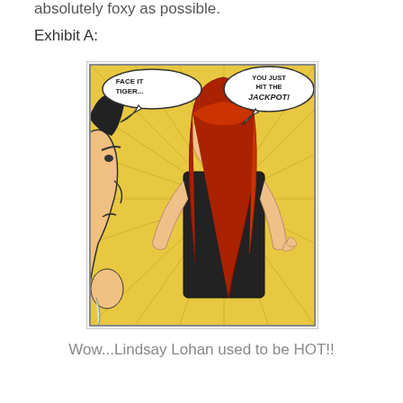absolutely foxy as possible.
Exhibit A:
[Figure (illustration): Comic book panel showing a smiling woman with long red hair in a black top, with speech bubbles reading 'FACE IT TIGER...' and 'YOU JUST HIT THE JACKPOT!' A man's profile is visible on the left side. The woman resembles Lindsay Lohan superimposed on a classic comic style.]
Wow...Lindsay Lohan used to be HOT!!